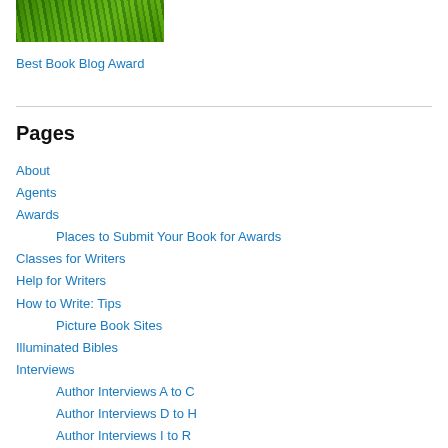[Figure (photo): Green grass or foliage image thumbnail]
Best Book Blog Award
Pages
About
Agents
Awards
Places to Submit Your Book for Awards
Classes for Writers
Help for Writers
How to Write: Tips
Picture Book Sites
Illuminated Bibles
Interviews
Author Interviews A to C
Author Interviews D to H
Author Interviews I to R